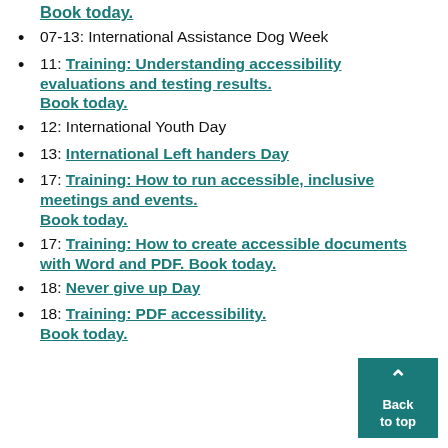Book today.
07-13: International Assistance Dog Week
11: Training: Understanding accessibility evaluations and testing results. Book today.
12: International Youth Day
13: International Left handers Day
17: Training: How to run accessible, inclusive meetings and events. Book today.
17: Training: How to create accessible documents with Word and PDF. Book today.
18: Never give up Day
18: Training: PDF accessibility. Book today.